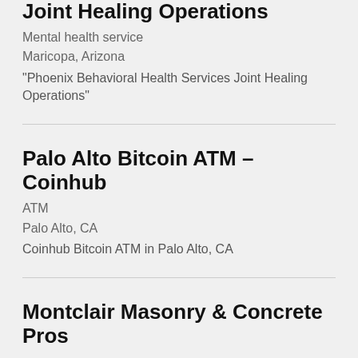Joint Healing Operations
Mental health service
Maricopa, Arizona
“Phoenix Behavioral Health Services Joint Healing Operations”
Palo Alto Bitcoin ATM – Coinhub
ATM
Palo Alto, CA
Coinhub Bitcoin ATM in Palo Alto, CA
Montclair Masonry & Concrete Pros